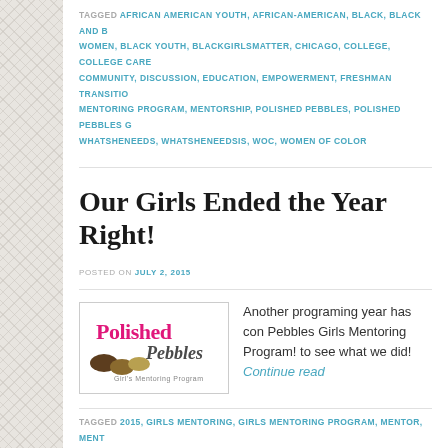TAGGED AFRICAN AMERICAN YOUTH, AFRICAN-AMERICAN, BLACK, BLACK AND BLACK WOMEN, BLACK YOUTH, BLACKGIRLSMATTER, CHICAGO, COLLEGE, COLLEGE CARE, COMMUNITY, DISCUSSION, EDUCATION, EMPOWERMENT, FRESHMAN TRANSITION, MENTORING PROGRAM, MENTORSHIP, POLISHED PEBBLES, POLISHED PEBBLES G, WHATSHENEEDS, WHATSHENEEDSIS, WOC, WOMEN OF COLOR
Our Girls Ended the Year Right!
POSTED ON JULY 2, 2015
[Figure (logo): Polished Pebbles Girl's Mentoring Program logo with pink and brown text and pebble graphics]
Another programing year has come to an end at Polished Pebbles Girls Mentoring Program! Read our newsletter to see what we did! Continue read
TAGGED 2015, GIRLS MENTORING, GIRLS MENTORING PROGRAM, MENTOR, MENT, MENTORS, MENTORSHIP, NEWSLETTER, POLISHED PEBBLES, POLISHED PEBBLES G